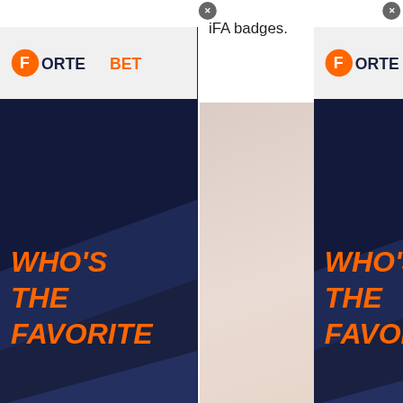iFA badges.
[Figure (photo): Two ForteBet banner advertisements (left and right) showing 'WHO'S THE FAVORITE ACCORDING TO LARGEST COMMUNITY OF PUNTERS IN UGANDA!' with dark blue and orange design. Center shows a photo of people in red shirts with a football.]
Brian Emmy Nsubuga and Isaac Sengendo are the futsal referees.
[Figure (infographic): Social media share icons: Facebook (blue), Twitter (cyan), Email (pink)]